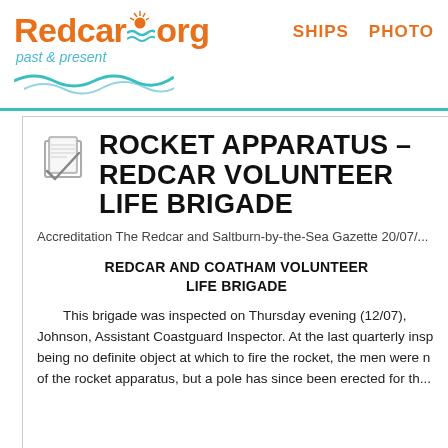Redcar.org past & present | SHIPS | PHOTO
[Figure (logo): Redcar.org past & present logo with orange sun/text and teal wave graphic]
ROCKET APPARATUS – REDCAR VOLUNTEER LIFE BRIGADE
Accreditation The Redcar and Saltburn-by-the-Sea Gazette 20/07/...
REDCAR AND COATHAM VOLUNTEER LIFE BRIGADE
This brigade was inspected on Thursday evening (12/07), Johnson, Assistant Coastguard Inspector. At the last quarterly insp being no definite object at which to fire the rocket, the men were n of the rocket apparatus, but a pole has since been erected for th...